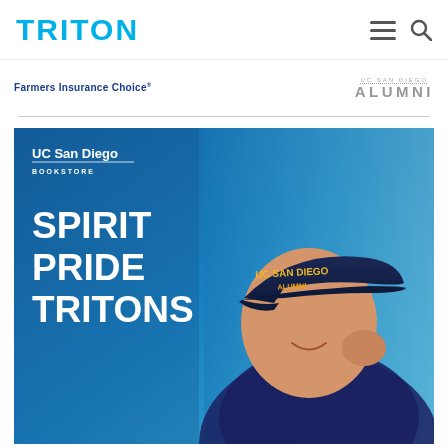TRITON
[Figure (logo): Farmers Insurance Choice logo and UC San Diego Alumni logo in sponsors row]
[Figure (photo): UC San Diego Bookstore advertisement showing a person wearing a navy UC San Diego Alumni cap. Text reads: SPIRIT PRIDE TRITONS with UC San Diego Bookstore logo.]